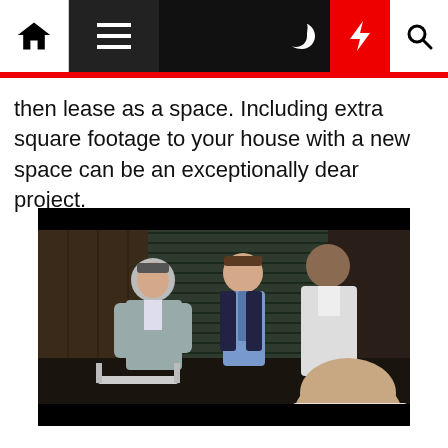[Navigation bar with home, menu, dark mode, lightning, search icons]
then lease as a space. Including extra square footage to your house with a new space can be an exceptionally dear project.
[Figure (photo): Scene from a TV show or movie showing three men in a room — one in a grey suit on the left, one in a blue shirt and tie in the center, and one in a white coat on the right; a fourth person is partially visible from behind in the foreground.]
Everybody would make their home essentially the most stunning home on the planet if they could. Unfortunately, individuals don't always have the